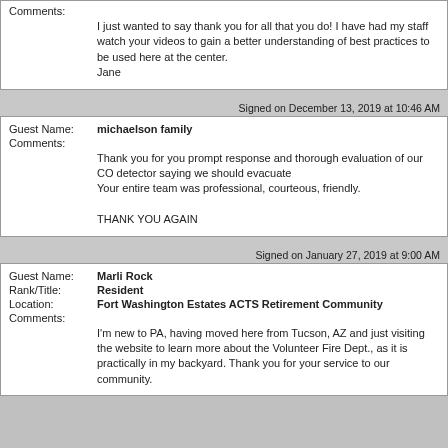Comments: I just wanted to say thank you for all that you do! I have had my staff watch your videos to gain a better understanding of best practices to be used here at the center.
Jane
Signed on December 13, 2019 at 10:46 AM
Guest Name: michaelson family
Comments: Thank you for you prompt response and thorough evaluation of our CO detector saying we should evacuate
Your entire team was professional, courteous, friendly.

THANK YOU AGAIN
Signed on January 27, 2019 at 9:00 AM
Guest Name: Marli Rock
Rank/Title: Resident
Location: Fort Washington Estates ACTS Retirement Community
Comments: I'm new to PA, having moved here from Tucson, AZ and just visiting the website to learn more about the Volunteer Fire Dept., as it is practically in my backyard. Thank you for your service to our community.